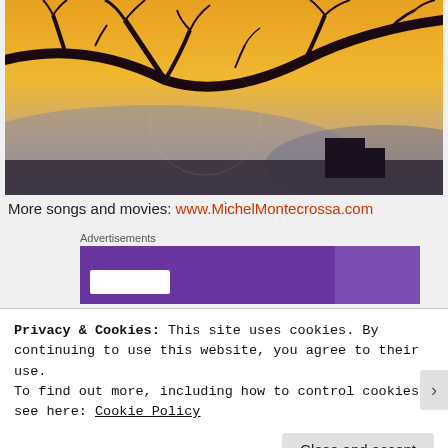[Figure (photo): Silhouette of bare tree branches against a warm orange and yellow sunset sky with distant hills and rooftops in background]
More songs and movies: www.MichelMontecrossa.com
Advertisements
[Figure (screenshot): Purple advertisement block]
Privacy & Cookies: This site uses cookies. By continuing to use this website, you agree to their use.
To find out more, including how to control cookies, see here: Cookie Policy
Close and accept